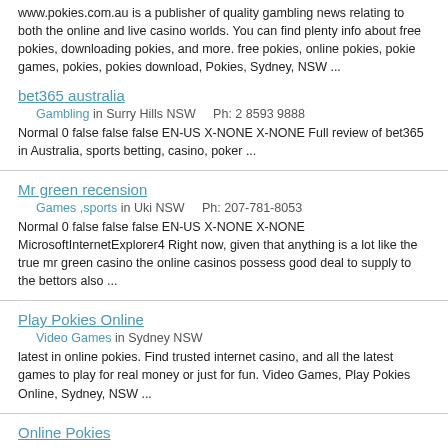www.pokies.com.au is a publisher of quality gambling news relating to both the online and live casino worlds. You can find plenty info about free pokies, downloading pokies, and more. free pokies, online pokies, pokie games, pokies, pokies download, Pokies, Sydney, NSW ...
bet365 australia
Gambling in Surry Hills NSW    Ph: 2 8593 9888
Normal 0 false false false EN-US X-NONE X-NONE Full review of bet365 in Australia, sports betting, casino, poker ...
Mr green recension
Games ,sports in Uki NSW    Ph: 207-781-8053
Normal 0 false false false EN-US X-NONE X-NONE MicrosoftInternetExplorer4 Right now, given that anything is a lot like the true mr green casino the online casinos possess good deal to supply to the bettors also ...
Play Pokies Online
Video Games in Sydney NSW
latest in online pokies. Find trusted internet casino, and all the latest games to play for real money or just for fun. Video Games, Play Pokies Online, Sydney, NSW ...
Online Pokies